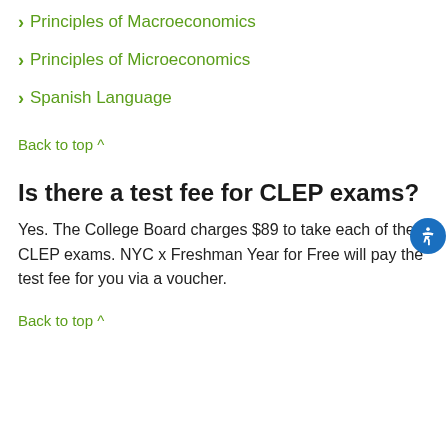> Principles of Macroeconomics
> Principles of Microeconomics
> Spanish Language
Back to top ^
Is there a test fee for CLEP exams?
Yes. The College Board charges $89 to take each of the CLEP exams. NYC x Freshman Year for Free will pay the test fee for you via a voucher.
Back to top ^